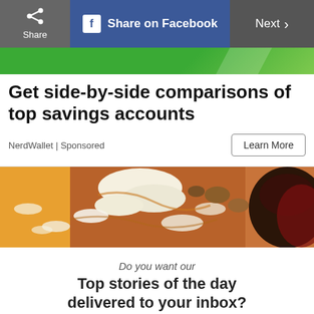Share | Share on Facebook | Next >
[Figure (screenshot): Green banner/bar below navigation]
Get side-by-side comparisons of top savings accounts
NerdWallet | Sponsored
[Figure (photo): Close-up food photo showing dessert with cream and fruit]
Do you want our
Top stories of the day delivered to your inbox?
YES PLEASE!
NO THANKS